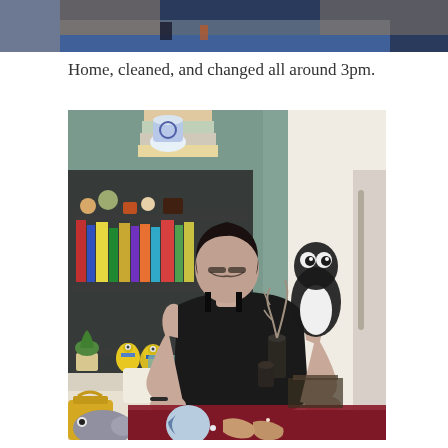[Figure (photo): Top partial photo showing what appears to be people at a table with blue carpet visible, cropped at top of page]
Home, cleaned, and changed all around 3pm.
[Figure (photo): Woman with short dark hair wearing a black tank top leaning over a table working on a colorful puzzle or artwork. Behind her is a bookshelf full of books and collectibles, a couch with cushions, yellow bag, and by the window a penguin stuffed animal/figurine. The room is cluttered with personal items and art.]